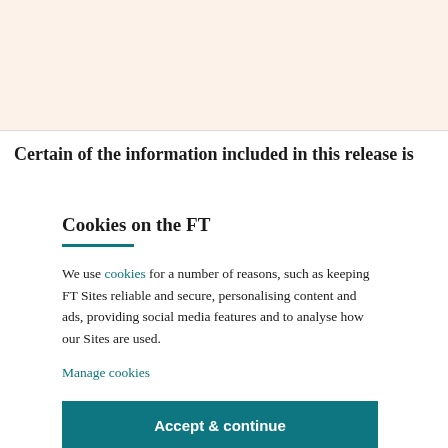Certain of the information included in this release is
Cookies on the FT
We use cookies for a number of reasons, such as keeping FT Sites reliable and secure, personalising content and ads, providing social media features and to analyse how our Sites are used.
Manage cookies
Accept & continue